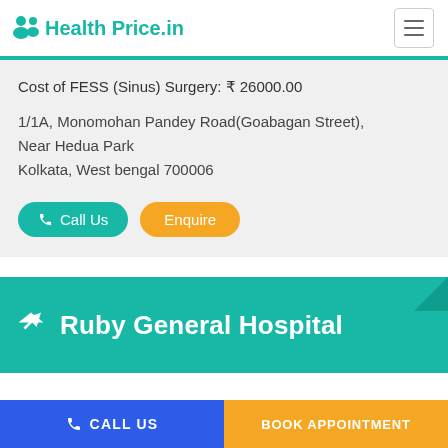Health Price.in
Cost of FESS (Sinus) Surgery: ₹ 26000.00
1/1A, Monomohan Pandey Road(Goabagan Street), Near Hedua Park
Kolkata, West bengal 700006
Call Us  Enquire
Ruby General Hospital
CALL US  BOOK APPOINTMENT